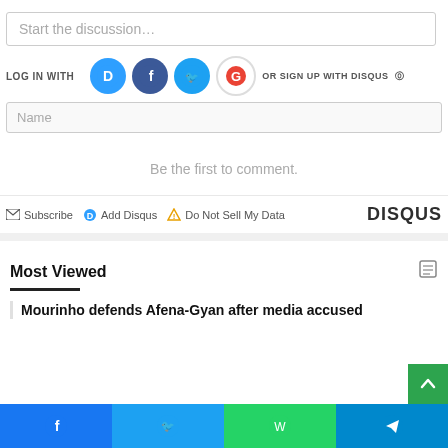Start the discussion…
LOG IN WITH
OR SIGN UP WITH DISQUS
[Figure (screenshot): Name input field placeholder]
Be the first to comment.
Subscribe  Add Disqus  Do Not Sell My Data  DISQUS
Most Viewed
Mourinho defends Afena-Gyan after media accused
[Figure (screenshot): Social sharing bar at bottom: Facebook, Twitter, WhatsApp, Telegram icons]